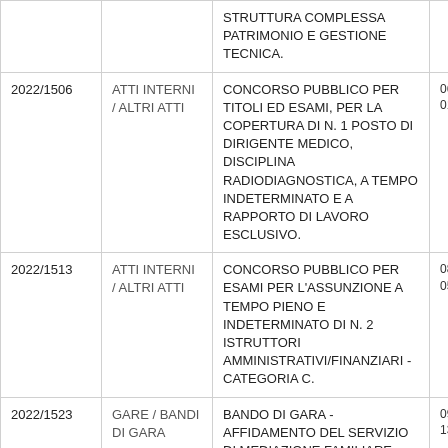|  |  |  |  |
| --- | --- | --- | --- |
|  |  | STRUTTURA COMPLESSA PATRIMONIO E GESTIONE TECNICA. |  |
| 2022/1506 | ATTI INTERNI / ALTRI ATTI | CONCORSO PUBBLICO PER TITOLI ED ESAMI, PER LA COPERTURA DI N. 1 POSTO DI DIRIGENTE MEDICO, DISCIPLINA RADIODIAGNOSTICA, A TEMPO INDETERMINATO E A RAPPORTO DI LAVORO ESCLUSIVO. | 06/08/202… 01/09/202… |
| 2022/1513 | ATTI INTERNI / ALTRI ATTI | CONCORSO PUBBLICO PER ESAMI PER L'ASSUNZIONE A TEMPO PIENO E INDETERMINATO DI N. 2 ISTRUTTORI AMMINISTRATIVI/FINANZIARI - CATEGORIA C. | 08/08/202… 05/09/202… |
| 2022/1523 | GARE / BANDI DI GARA | BANDO DI GARA - AFFIDAMENTO DEL SERVIZIO DI MEDIAZIONE FAMILIARE, EDUCATIVA | 09/08/202… 13/09/202… |